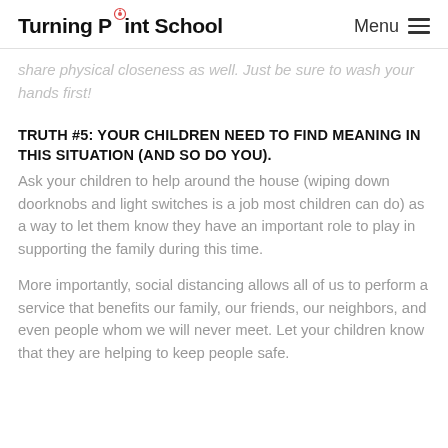Turning Point School  Menu
share physical closeness as well. Just be sure to wash your hands first!
TRUTH #5: YOUR CHILDREN NEED TO FIND MEANING IN THIS SITUATION (AND SO DO YOU).
Ask your children to help around the house (wiping down doorknobs and light switches is a job most children can do) as a way to let them know they have an important role to play in supporting the family during this time.
More importantly, social distancing allows all of us to perform a service that benefits our family, our friends, our neighbors, and even people whom we will never meet. Let your children know that they are helping to keep people safe.